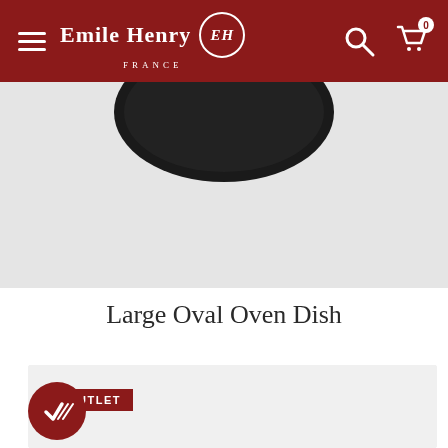Emile Henry FRANCE
[Figure (photo): Top portion of a dark-colored ceramic dish against a light grey background, partially visible at the top of the page.]
Large Oval Oven Dish
[Figure (photo): Outlet tag label with text OUTLET in white on dark red background.]
[Figure (photo): A taupe/greige colored oval ceramic oven dish by Emile Henry, with small tab handles on each side and the EH logo embossed on the front. Displayed on a light grey background.]